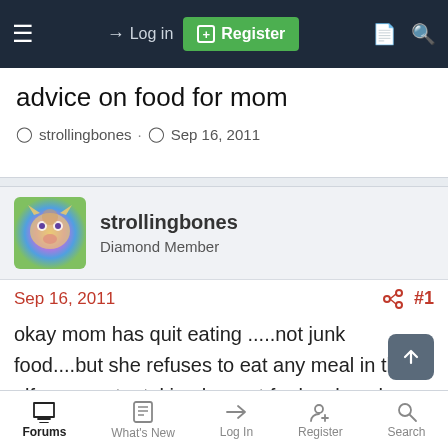Log in | Register
advice on food for mom
strollingbones · Sep 16, 2011
strollingbones
Diamond Member
Sep 16, 2011  #1
okay mom has quit eating .....not junk food....but she refuses to eat any meal in the alf....so we try taking her out for lunch....she wont eat.....now she will eat junk food that i put in her fridge....but she refuses to eat more
Forums | What's New | Log In | Register | Search